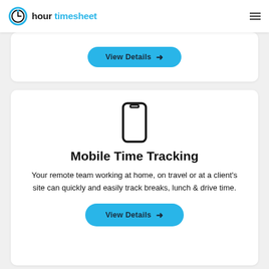hour timesheet
[Figure (screenshot): Partial card with View Details button at top]
[Figure (illustration): Mobile phone outline icon]
Mobile Time Tracking
Your remote team working at home, on travel or at a client's site can quickly and easily track breaks, lunch & drive time.
View Details →